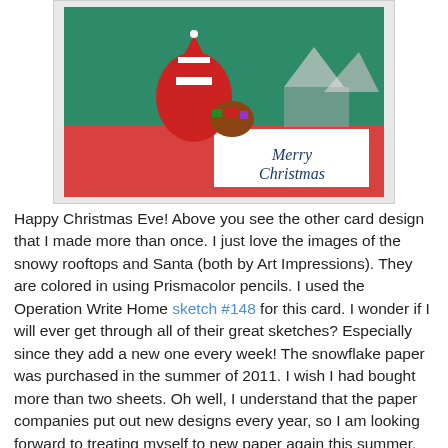[Figure (photo): A handmade Christmas card featuring a green background with a Santa Claus image and snowy rooftops, a red horizontal band in the lower section, and a white panel with cursive text reading 'Merry Christmas'.]
Happy Christmas Eve! Above you see the other card design that I made more than once. I just love the images of the snowy rooftops and Santa (both by Art Impressions). They are colored in using Prismacolor pencils. I used the Operation Write Home sketch #148 for this card. I wonder if I will ever get through all of their great sketches? Especially since they add a new one every week! The snowflake paper was purchased in the summer of 2011. I wish I had bought more than two sheets. Oh well, I understand that the paper companies put out new designs every year, so I am looking forward to treating myself to new paper again this summer. Turns out I had a couple of these left over, so I have filed them under Winter in my OWH...